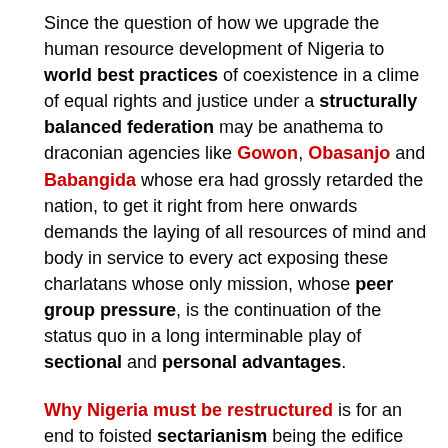Since the question of how we upgrade the human resource development of Nigeria to world best practices of coexistence in a clime of equal rights and justice under a structurally balanced federation may be anathema to draconian agencies like Gowon, Obasanjo and Babangida whose era had grossly retarded the nation, to get it right from here onwards demands the laying of all resources of mind and body in service to every act exposing these charlatans whose only mission, whose peer group pressure, is the continuation of the status quo in a long interminable play of sectional and personal advantages.
Why Nigeria must be restructured is for an end to foisted sectarianism being the edifice upon which the "unity" of Nigeria is built; it means rejecting the 1999 constitution for federalism to prevail upon the structures that govern a nation. This remains the panacea to overturn the narrative,